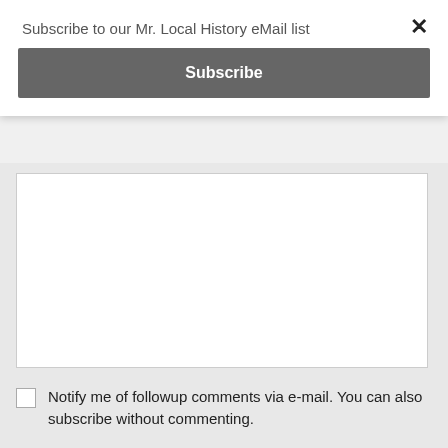Subscribe to our Mr. Local History eMail list
Subscribe
×
Notify me of followup comments via e-mail. You can also subscribe without commenting.
Post Comment